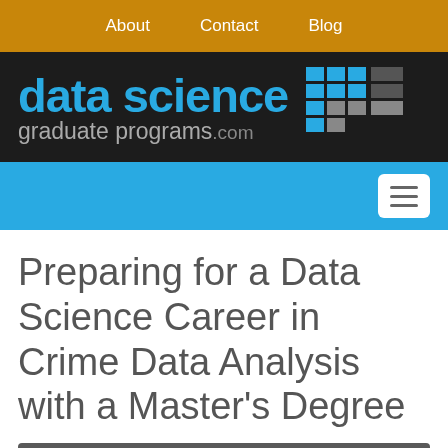About   Contact   Blog
[Figure (logo): Data Science Graduate Programs .com logo with blue text and grid icon on dark background]
[Figure (screenshot): Blue navigation bar with hamburger menu button on the right]
Preparing for a Data Science Career in Crime Data Analysis with a Master’s Degree
FIND SCHOOLS